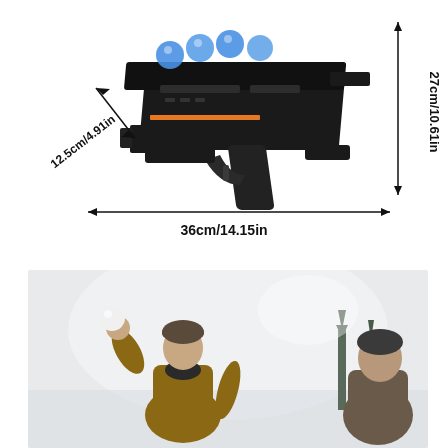[Figure (photo): Black toy snowball gun launcher with blue snowballs loaded on top, shown with dimension arrows indicating 36cm/14.15in width, 27cm/10.61in height, and 12.5cm/4.91in depth]
[Figure (photo): Person in winter clothing throwing a snowball outdoors in snowy conditions]